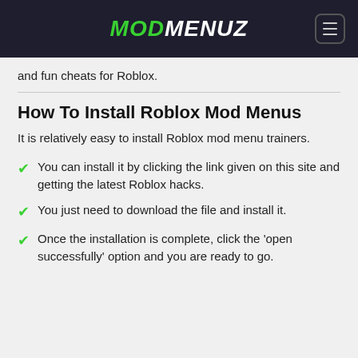MODMENUZ
and fun cheats for Roblox.
How To Install Roblox Mod Menus
It is relatively easy to install Roblox mod menu trainers.
You can install it by clicking the link given on this site and getting the latest Roblox hacks.
You just need to download the file and install it.
Once the installation is complete, click the 'open successfully' option and you are ready to go.